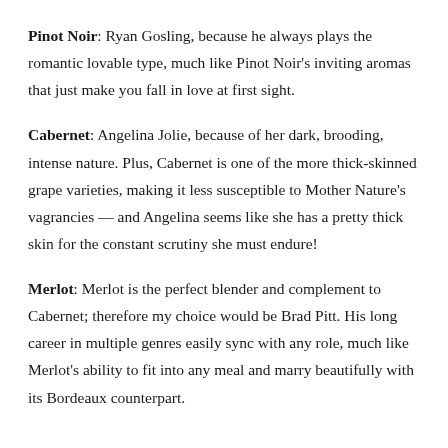Pinot Noir: Ryan Gosling, because he always plays the romantic lovable type, much like Pinot Noir's inviting aromas that just make you fall in love at first sight.
Cabernet: Angelina Jolie, because of her dark, brooding, intense nature. Plus, Cabernet is one of the more thick-skinned grape varieties, making it less susceptible to Mother Nature's vagrancies — and Angelina seems like she has a pretty thick skin for the constant scrutiny she must endure!
Merlot: Merlot is the perfect blender and complement to Cabernet; therefore my choice would be Brad Pitt. His long career in multiple genres easily sync with any role, much like Merlot's ability to fit into any meal and marry beautifully with its Bordeaux counterpart.